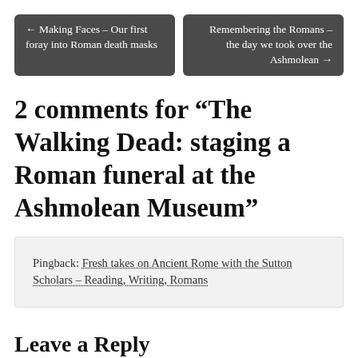← Making Faces – Our first foray into Roman death masks
Remembering the Romans – the day we took over the Ashmolean →
2 comments for “The Walking Dead: staging a Roman funeral at the Ashmolean Museum”
Pingback: Fresh takes on Ancient Rome with the Sutton Scholars – Reading, Writing, Romans
Leave a Reply
Your email address will not be published. Required fields are marked *